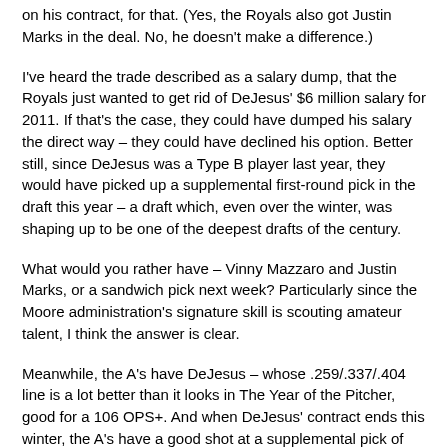on his contract, for that. (Yes, the Royals also got Justin Marks in the deal. No, he doesn't make a difference.)
I've heard the trade described as a salary dump, that the Royals just wanted to get rid of DeJesus' $6 million salary for 2011. If that's the case, they could have dumped his salary the direct way – they could have declined his option. Better still, since DeJesus was a Type B player last year, they would have picked up a supplemental first-round pick in the draft this year – a draft which, even over the winter, was shaping up to be one of the deepest drafts of the century.
What would you rather have – Vinny Mazzaro and Justin Marks, or a sandwich pick next week? Particularly since the Moore administration's signature skill is scouting amateur talent, I think the answer is clear.
Meanwhile, the A's have DeJesus – whose .259/.337/.404 line is a lot better than it looks in The Year of the Pitcher, good for a 106 OPS+. And when DeJesus' contract ends this winter, the A's have a good shot at a supplemental pick of their own. Billy Beane wins again.